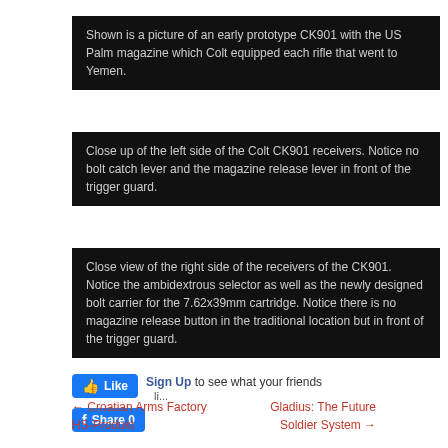Shown is a picture of an early prototype CK901 with the US Palm magazine which Colt equipped each rifle that went to Yemen.
Close up of the left side of the Colt CK901 receivers. Notice no bolt catch lever and the magazine release lever in front of the trigger guard.
Close view of the right side of the receivers of the CK901. Notice the ambidextrous selector as well as the newly designed bolt carrier for the 7.62x39mm cartridge. Notice there is no magazine release button in the traditional location but in front of the trigger guard.
[Figure (screenshot): Facebook Like and Share buttons with Sign Up link]
← Croatian Arms Factory HS-Produkt    Gladius: The Future Soldier System →